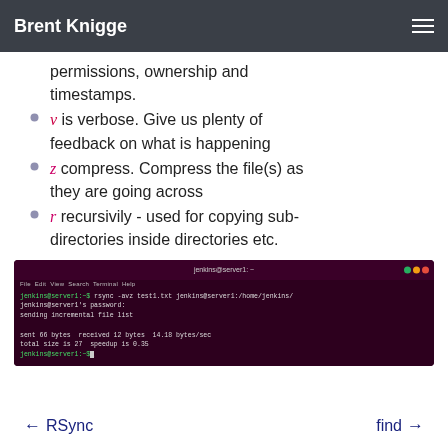Brent Knigge
permissions, ownership and timestamps.
v is verbose. Give us plenty of feedback on what is happening
z compress. Compress the file(s) as they are going across
r recursivily - used for copying sub-directories inside directories etc.
[Figure (screenshot): Terminal window showing rsync command: jenkins@server1:~$ rsync -avz test1.txt jenkins@server1:/home/jenkins/ followed by password prompt, sending incremental file list, and transfer stats.]
← RSync    find →